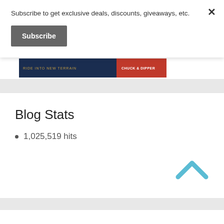Subscribe to get exclusive deals, discounts, giveaways, etc.
Subscribe
[Figure (photo): Partial view of a book cover strip with dark navy and red sections, with gold text on the left and white text on the right]
Blog Stats
1,025,519 hits
[Figure (other): Cyan/light blue chevron up arrow icon]